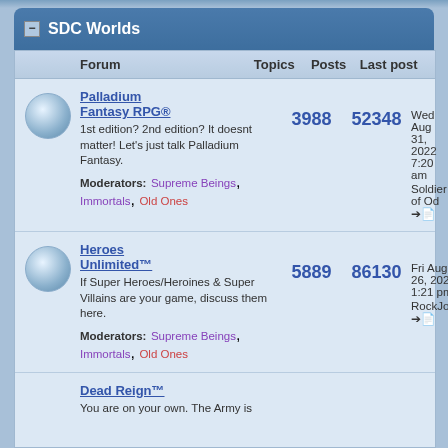SDC Worlds
| Forum | Topics | Posts | Last post |
| --- | --- | --- | --- |
| Palladium Fantasy RPG® — 1st edition? 2nd edition? It doesnt matter! Let's just talk Palladium Fantasy. Moderators: Supreme Beings, Immortals, Old Ones | 3988 | 52348 | Wed Aug 31, 2022 7:20 am Soldier of Od |
| Heroes Unlimited™ — If Super Heroes/Heroines & Super Villains are your game, discuss them here. Moderators: Supreme Beings, Immortals, Old Ones | 5889 | 86130 | Fri Aug 26, 2022 1:21 pm RockJock |
| Dead Reign™ — You are on your own. The Army is... |  |  |  |